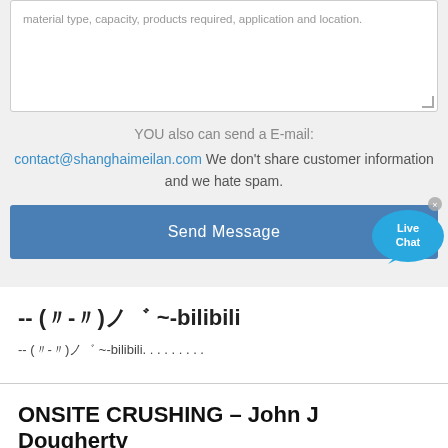material type, capacity, products required, application and location.
YOU also can send a E-mail:
contact@shanghaimeilan.com We don't share customer information and we hate spam.
Send Message
-- (〃-〃)ノ゛ ~-bilibili
-- (〃-〃)ノ゛ ~-bilibili. . . . . . . . .
ONSITE CRUSHING – John J Dougherty
Onsite Concrete Crushing in Pennsylvania. Onsite concrete